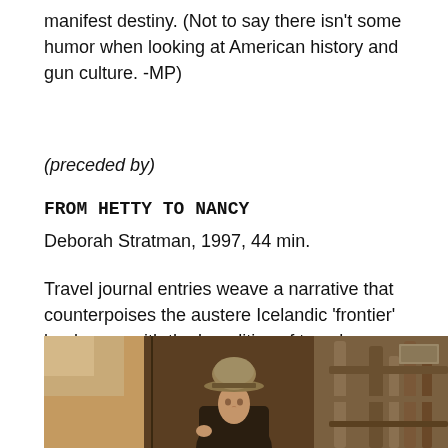manifest destiny. (Not to say there isn't some humor when looking at American history and gun culture. -MP)
(preceded by)
FROM HETTY TO NANCY
Deborah Stratman, 1997, 44 min.
Travel journal entries weave a narrative that counterpoises the austere Icelandic 'frontier' landscape with the banalities of travel circumstances.
Click Here for More Info
[Figure (photo): A dark, moody photograph showing a figure wearing a bowler hat in the center, with warm amber/brown tones. Left side shows a sky area and the right side shows industrial pipes or machinery.]